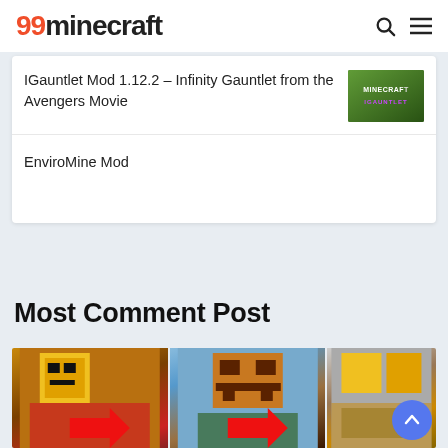99minecraft
IGauntlet Mod 1.12.2 – Infinity Gauntlet from the Avengers Movie
[Figure (photo): Minecraft mod thumbnail showing Thanos/Avengers themed image with MINECRAFT text overlay in purple]
EnviroMine Mod
Most Comment Post
[Figure (photo): Three Minecraft character/mob screenshots side by side showing pixel art characters with red arrow overlays at the bottom]